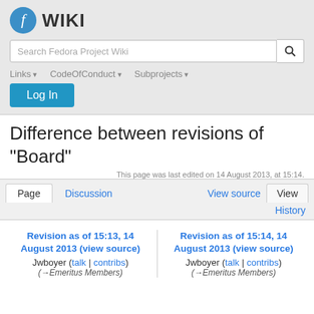Fedora WIKI
Difference between revisions of "Board"
This page was last edited on 14 August 2013, at 15:14.
Page | Discussion | View source | View | History
Revision as of 15:13, 14 August 2013 (view source)
Jwboyer (talk | contribs)
(→Emeritus Members)
Revision as of 15:14, 14 August 2013 (view source)
Jwboyer (talk | contribs)
(→Emeritus Members)